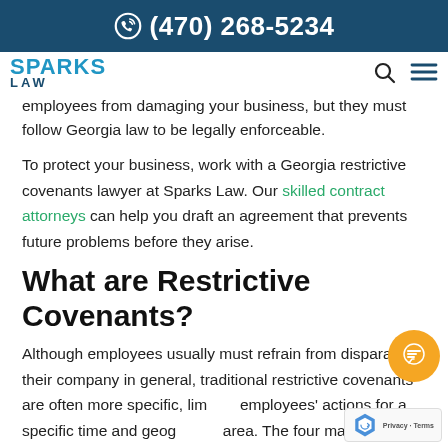(470) 268-5234
employees from damaging your business, but they must follow Georgia law to be legally enforceable.
To protect your business, work with a Georgia restrictive covenants lawyer at Sparks Law. Our skilled contract attorneys can help you draft an agreement that prevents future problems before they arise.
What are Restrictive Covenants?
Although employees usually must refrain from disparaging their company in general, traditional restrictive covenants are often more specific, limiting employees' actions for a specific time and geographic area. The four main types of restrictive covenants are: